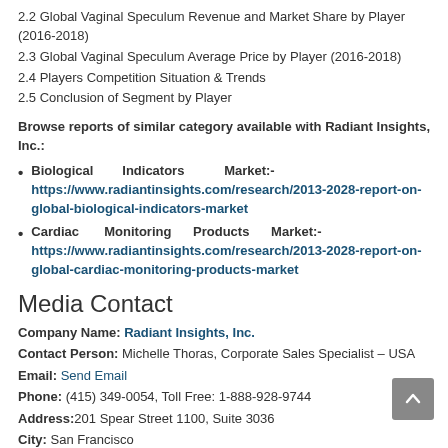2.2 Global Vaginal Speculum Revenue and Market Share by Player (2016-2018)
2.3 Global Vaginal Speculum Average Price by Player (2016-2018)
2.4 Players Competition Situation & Trends
2.5 Conclusion of Segment by Player
Browse reports of similar category available with Radiant Insights, Inc.:
Biological Indicators Market:- https://www.radiantinsights.com/research/2013-2028-report-on-global-biological-indicators-market
Cardiac Monitoring Products Market:- https://www.radiantinsights.com/research/2013-2028-report-on-global-cardiac-monitoring-products-market
Media Contact
Company Name: Radiant Insights, Inc.
Contact Person: Michelle Thoras, Corporate Sales Specialist – USA
Email: Send Email
Phone: (415) 349-0054, Toll Free: 1-888-928-9744
Address:201 Spear Street 1100, Suite 3036
City: San Francisco
State: CA
Country: United States